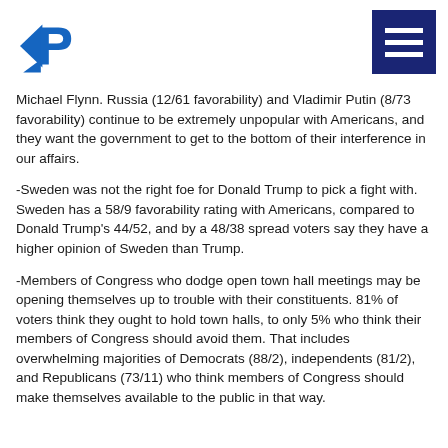Logo and navigation menu
Michael Flynn. Russia (12/61 favorability) and Vladimir Putin (8/73 favorability) continue to be extremely unpopular with Americans, and they want the government to get to the bottom of their interference in our affairs.
-Sweden was not the right foe for Donald Trump to pick a fight with. Sweden has a 58/9 favorability rating with Americans, compared to Donald Trump's 44/52, and by a 48/38 spread voters say they have a higher opinion of Sweden than Trump.
-Members of Congress who dodge open town hall meetings may be opening themselves up to trouble with their constituents. 81% of voters think they ought to hold town halls, to only 5% who think their members of Congress should avoid them. That includes overwhelming majorities of Democrats (88/2), independents (81/2), and Republicans (73/11) who think members of Congress should make themselves available to the public in that way.